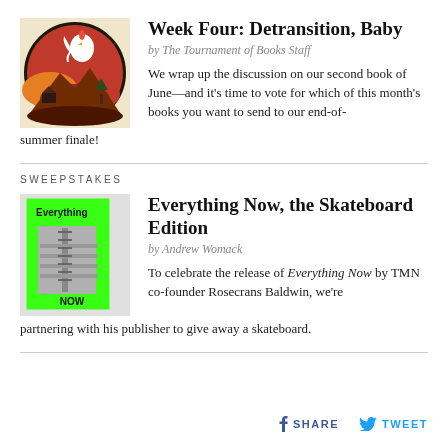Week Four: Detransition, Baby
by The Tournament of Books Staff
We wrap up the discussion on our second book of June—and it's time to vote for which of this month's books you want to send to our end-of-summer finale!
SWEEPSTAKES
Everything Now, the Skateboard Edition
by Andrew Womack
To celebrate the release of Everything Now by TMN co-founder Rosecrans Baldwin, we're partnering with his publisher to give away a skateboard.
SHARE  TWEET